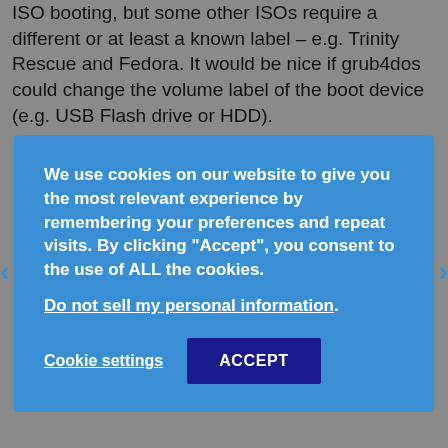ISO booting, but some other ISOs require a different or at least a known label – e.g. Trinity Rescue and Fedora. It would be nice if grub4dos could change the volume label of the boot device (e.g. USB Flash drive or HDD).
We use cookies on our website to give you the most relevant experience by remembering your preferences and repeat visits. By clicking "Accept", you consent to the use of ALL the cookies. Do not sell my personal information.
Cookie settings   ACCEPT